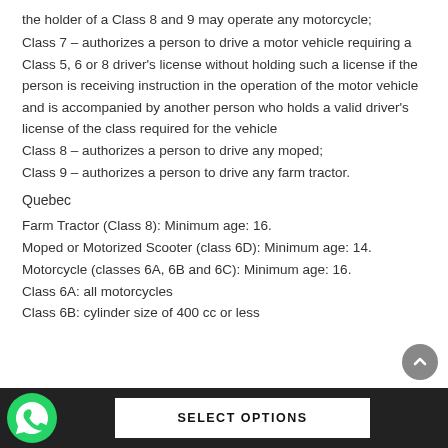the holder of a Class 8 and 9 may operate any motorcycle;
Class 7 – authorizes a person to drive a motor vehicle requiring a Class 5, 6 or 8 driver's license without holding such a license if the person is receiving instruction in the operation of the motor vehicle and is accompanied by another person who holds a valid driver's license of the class required for the vehicle
Class 8 – authorizes a person to drive any moped;
Class 9 – authorizes a person to drive any farm tractor.
Quebec
Farm Tractor (Class 8): Minimum age: 16.
Moped or Motorized Scooter (class 6D): Minimum age: 14.
Motorcycle (classes 6A, 6B and 6C): Minimum age: 16.
Class 6A: all motorcycles
Class 6B: cylinder size of 400 cc or less
SELECT OPTIONS